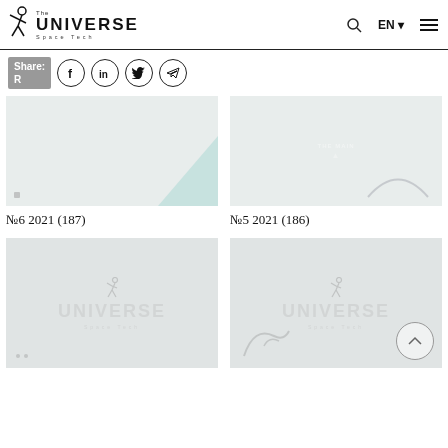The UNIVERSE Space Tech
Share: R
[Figure (screenshot): Thumbnail placeholder for issue №6 2021 (187) with light teal decorative shape]
№6 2021 (187)
[Figure (screenshot): Thumbnail placeholder for issue №5 2021 (186) with Universe Space Tech watermark logo in light gray]
№5 2021 (186)
[Figure (screenshot): Thumbnail placeholder with Universe Space Tech watermark logo in light gray]
[Figure (screenshot): Thumbnail placeholder with Universe Space Tech watermark logo in light gray and back-to-top arrow button]